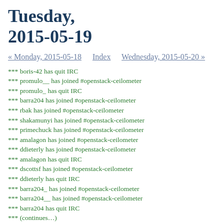Tuesday, 2015-05-19
« Monday, 2015-05-18    Index    Wednesday, 2015-05-20 »
*** boris-42 has quit IRC
*** promulo__ has joined #openstack-ceilometer
*** promulo_ has quit IRC
*** barra204 has joined #openstack-ceilometer
*** rbak has joined #openstack-ceilometer
*** shakamunyi has joined #openstack-ceilometer
*** primechuck has joined #openstack-ceilometer
*** amalagon has joined #openstack-ceilometer
*** ddieterly has joined #openstack-ceilometer
*** amalagon has quit IRC
*** dscottsf has joined #openstack-ceilometer
*** ddieterly has quit IRC
*** barra204_ has joined #openstack-ceilometer
*** barra204__ has joined #openstack-ceilometer
*** barra204 has quit IRC
*** (cut off)